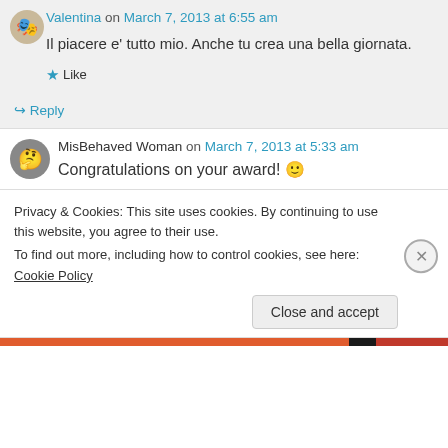Valentina on March 7, 2013 at 6:55 am
Il piacere e' tutto mio. Anche tu crea una bella giornata.
★ Like
↪ Reply
MisBehaved Woman on March 7, 2013 at 5:33 am
Congratulations on your award! 🙂
Privacy & Cookies: This site uses cookies. By continuing to use this website, you agree to their use.
To find out more, including how to control cookies, see here: Cookie Policy
Close and accept